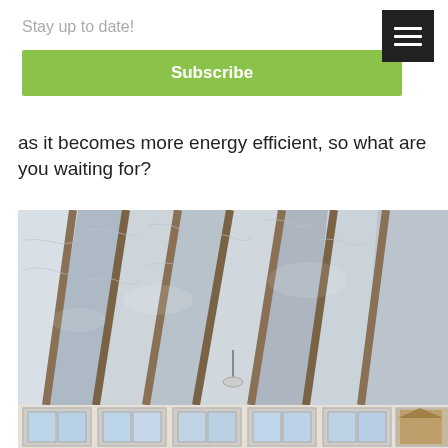Stay up to date!
Subscribe
as it becomes more energy efficient, so what are you waiting for?
[Figure (photo): Interior view of a conservatory or sunroom roof showing foil/reflective insulation material installed between wooden rafters. Windows visible at the bottom with outdoor scenery.]